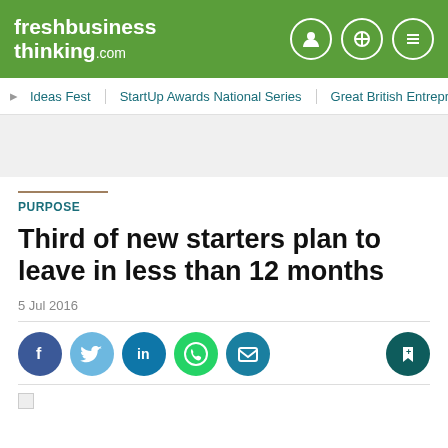freshbusiness thinking.com
Ideas Fest | StartUp Awards National Series | Great British Entrepr
PURPOSE
Third of new starters plan to leave in less than 12 months
5 Jul 2016